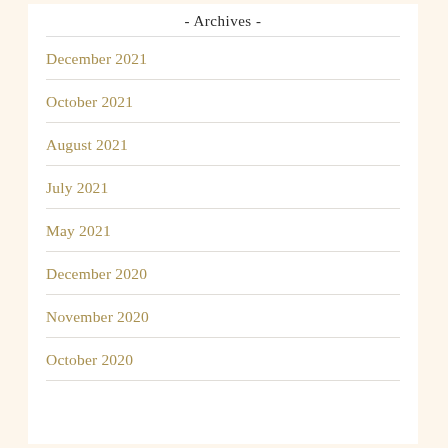- Archives -
December 2021
October 2021
August 2021
July 2021
May 2021
December 2020
November 2020
October 2020